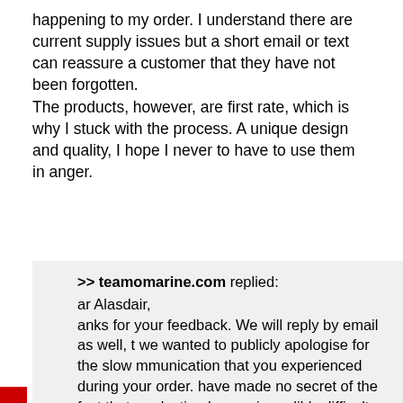happening to my order. I understand there are current supply issues but a short email or text can reassure a customer that they have not been forgotten.
The products, however, are first rate, which is why I stuck with the process. A unique design and quality, I hope I never to have to use them in anger.
>> teamomarine.com replied:
ar Alasdair,
anks for your feedback. We will reply by email as well, t we wanted to publicly apologise for the slow mmunication that you experienced during your order. have made no secret of the fact that production has en incredibly difficult this year, with several of our pliers either entirely closed or running with long delays parts which has affected our own UK manufacturing o. We have done our best to keep communicating that so that customers are kept up to date, but in one or two cases emails have been missed or left unanswered, which is my bad. I can understand why this has created frustration and confusion about the status of your order. Since July we have welcomed a new team member to the business and are implementing new customer service